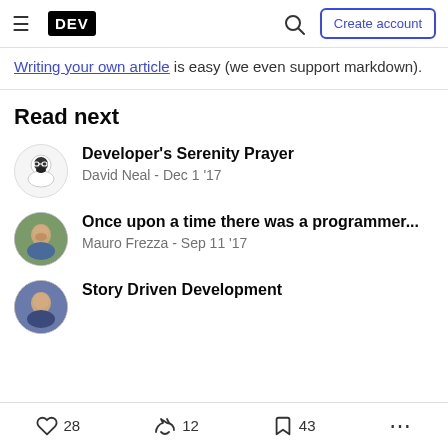DEV — Create account
Writing your own article is easy (we even support markdown).
Read next
Developer's Serenity Prayer — David Neal - Dec 1 '17
Once upon a time there was a programmer... — Mauro Frezza - Sep 11 '17
Story Driven Development
28  12  43  ...